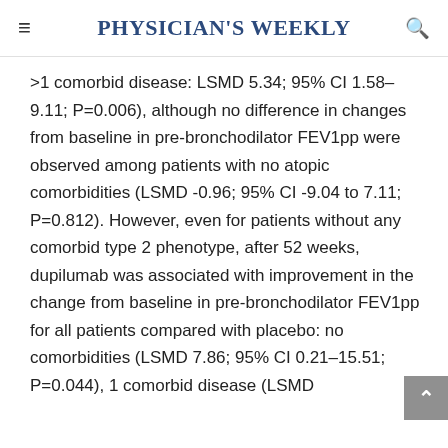Physician's Weekly
>1 comorbid disease: LSMD 5.34; 95% CI 1.58–9.11; P=0.006), although no difference in changes from baseline in pre-bronchodilator FEV1pp were observed among patients with no atopic comorbidities (LSMD -0.96; 95% CI -9.04 to 7.11; P=0.812). However, even for patients without any comorbid type 2 phenotype, after 52 weeks, dupilumab was associated with improvement in the change from baseline in pre-bronchodilator FEV1pp for all patients compared with placebo: no comorbidities (LSMD 7.86; 95% CI 0.21–15.51; P=0.044), 1 comorbid disease (LSMD